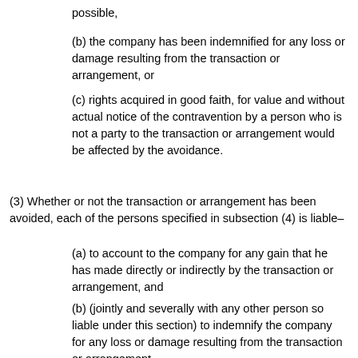possible,
(b) the company has been indemnified for any loss or damage resulting from the transaction or arrangement, or
(c) rights acquired in good faith, for value and without actual notice of the contravention by a person who is not a party to the transaction or arrangement would be affected by the avoidance.
(3) Whether or not the transaction or arrangement has been avoided, each of the persons specified in subsection (4) is liable–
(a) to account to the company for any gain that he has made directly or indirectly by the transaction or arrangement, and
(b) (jointly and severally with any other person so liable under this section) to indemnify the company for any loss or damage resulting from the transaction or arrangement.